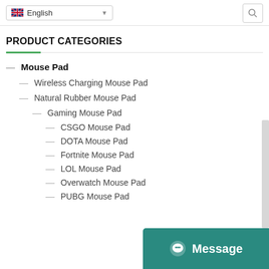English
PRODUCT CATEGORIES
Mouse Pad
Wireless Charging Mouse Pad
Natural Rubber Mouse Pad
Gaming Mouse Pad
CSGO Mouse Pad
DOTA Mouse Pad
Fortnite Mouse Pad
LOL Mouse Pad
Overwatch Mouse Pad
PUBG Mouse Pad
[Figure (screenshot): Message chat button overlay in teal color with alien/chat icon and 'Message' text]